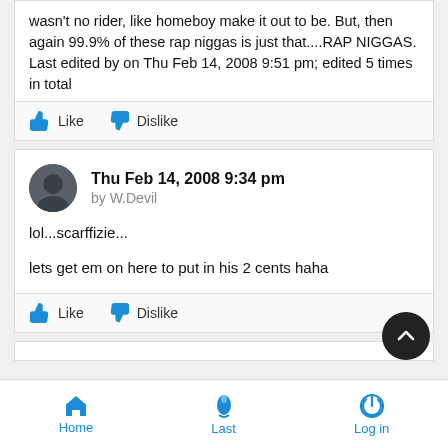wasn't no rider, like homeboy make it out to be. But, then again 99.9% of these rap niggas is just that....RAP NIGGAS.
Last edited by on Thu Feb 14, 2008 9:51 pm; edited 5 times in total
Like  Dislike
Thu Feb 14, 2008 9:34 pm
by W.Devil
lol...scarffizie...

lets get em on here to put in his 2 cents haha
Like  Dislike
Home  Last  Log in